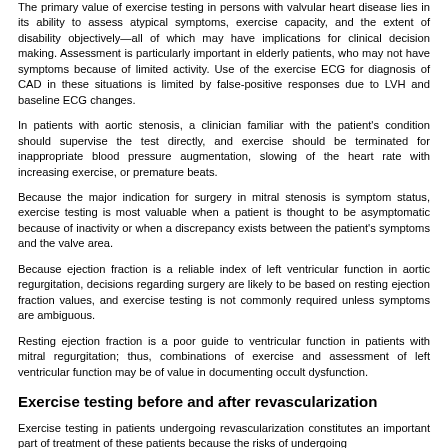The primary value of exercise testing in persons with valvular heart disease lies in its ability to assess atypical symptoms, exercise capacity, and the extent of disability objectively—all of which may have implications for clinical decision making. Assessment is particularly important in elderly patients, who may not have symptoms because of limited activity. Use of the exercise ECG for diagnosis of CAD in these situations is limited by false-positive responses due to LVH and baseline ECG changes.
In patients with aortic stenosis, a clinician familiar with the patient's condition should supervise the test directly, and exercise should be terminated for inappropriate blood pressure augmentation, slowing of the heart rate with increasing exercise, or premature beats.
Because the major indication for surgery in mitral stenosis is symptom status, exercise testing is most valuable when a patient is thought to be asymptomatic because of inactivity or when a discrepancy exists between the patient's symptoms and the valve area.
Because ejection fraction is a reliable index of left ventricular function in aortic regurgitation, decisions regarding surgery are likely to be based on resting ejection fraction values, and exercise testing is not commonly required unless symptoms are ambiguous.
Resting ejection fraction is a poor guide to ventricular function in patients with mitral regurgitation; thus, combinations of exercise and assessment of left ventricular function may be of value in documenting occult dysfunction.
Exercise testing before and after revascularization
Exercise testing in patients undergoing revascularization constitutes an important part of treatment of these patients because the risks of undergoing